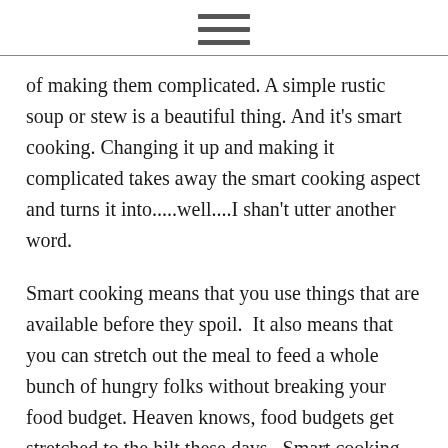[hamburger menu icon]
of making them complicated. A simple rustic soup or stew is a beautiful thing. And it's smart cooking. Changing it up and making it complicated takes away the smart cooking aspect and turns it into.....well....I shan't utter another word.
Smart cooking means that you use things that are available before they spoil.  It also means that you can stretch out the meal to feed a whole bunch of hungry folks without breaking your food budget. Heaven knows, food budgets get stretched to the hilt these days.  Smart cooking also means that you may be as creative as your